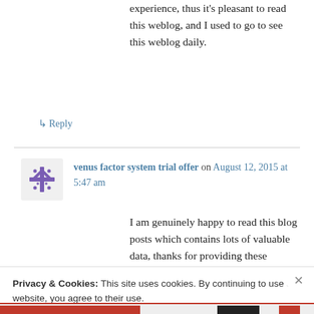experience, thus it's pleasant to read this weblog, and I used to go to see this weblog daily.
↳ Reply
venus factor system trial offer on August 12, 2015 at 5:47 am
I am genuinely happy to read this blog posts which contains lots of valuable data, thanks for providing these information.
Privacy & Cookies: This site uses cookies. By continuing to use this website, you agree to their use.
To find out more, including how to control cookies, see here: Cookie Policy
Close and accept